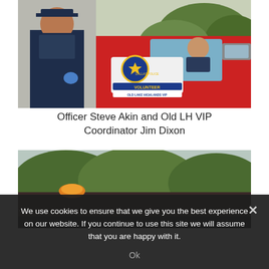[Figure (photo): A police officer in dark uniform with blue gloves stands next to a red vehicle bearing a Dallas Police Volunteer Old Lake Highlands VIP badge/sign. Another officer is visible smiling inside the vehicle through the window.]
Officer Steve Akin and Old LH VIP Coordinator Jim Dixon
[Figure (photo): Bottom portion of a photo showing the top of a vehicle with an amber light on the roof, with green trees visible in the background.]
We use cookies to ensure that we give you the best experience on our website. If you continue to use this site we will assume that you are happy with it.
Ok